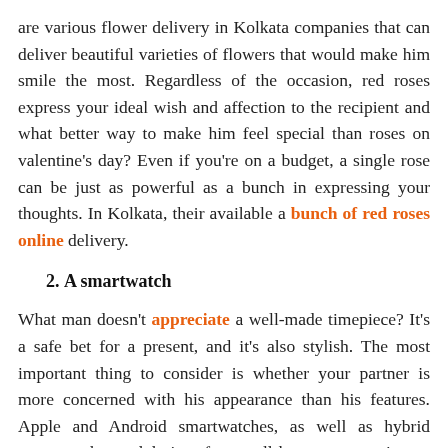are various flower delivery in Kolkata companies that can deliver beautiful varieties of flowers that would make him smile the most. Regardless of the occasion, red roses express your ideal wish and affection to the recipient and what better way to make him feel special than roses on valentine's day? Even if you're on a budget, a single rose can be just as powerful as a bunch in expressing your thoughts. In Kolkata, their available a bunch of red roses online delivery.
2. A smartwatch
What man doesn't appreciate a well-made timepiece? It's a safe bet for a present, and it's also stylish. The most important thing to consider is whether your partner is more concerned with his appearance than his features. Apple and Android smartwatches, as well as hybrid smartwatches and designs from well-known companies